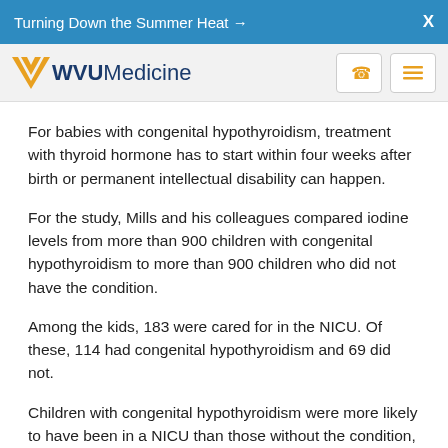Turning Down the Summer Heat →   X
[Figure (logo): WVU Medicine logo with flying W in gold and WVU Medicine text in dark blue]
For babies with congenital hypothyroidism, treatment with thyroid hormone has to start within four weeks after birth or permanent intellectual disability can happen.
For the study, Mills and his colleagues compared iodine levels from more than 900 children with congenital hypothyroidism to more than 900 children who did not have the condition.
Among the kids, 183 were cared for in the NICU. Of these, 114 had congenital hypothyroidism and 69 did not.
Children with congenital hypothyroidism were more likely to have been in a NICU than those without the condition, the researchers found.
When they looked at only kids who had been in the NICU, they found those with congenital hypothyroidism had higher